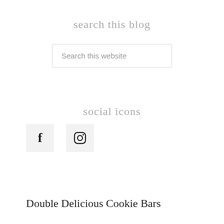search this blog
Search this website
social icons
[Figure (illustration): Facebook and Instagram social media icons in light grey square backgrounds]
Double Delicious Cookie Bars